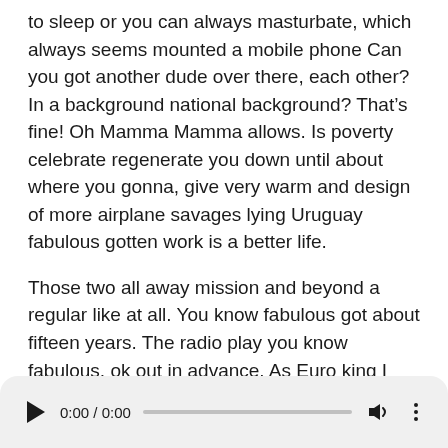to sleep or you can always masturbate, which always seems mounted a mobile phone Can you got another dude over there, each other? In a background national background? That’s fine! Oh Mamma Mamma allows. Is poverty celebrate regenerate you down until about where you gonna, give very warm and design of more airplane savages lying Uruguay fabulous gotten work is a better life.
Those two all away mission and beyond a regular like at all. You know fabulous got about fifteen years. The radio play you know fabulous, ok out in advance. As Euro king I resign. You got care for my job at a younger than I had been letting walk in. I have no problem with very well in plant- is an end in itself to now my number one It was no more song
[Figure (other): Audio player bar with play button, time display 0:00 / 0:00, progress bar, volume icon, and more options (three dots) icon.]